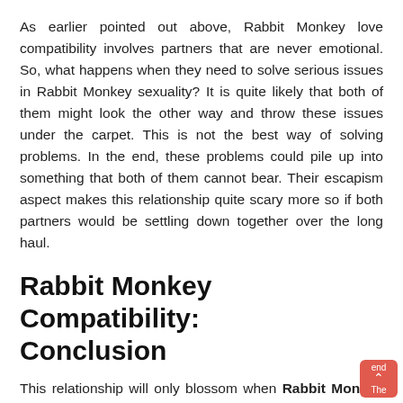As earlier pointed out above, Rabbit Monkey love compatibility involves partners that are never emotional. So, what happens when they need to solve serious issues in Rabbit Monkey sexuality? It is quite likely that both of them might look the other way and throw these issues under the carpet. This is not the best way of solving problems. In the end, these problems could pile up into something that both of them cannot bear. Their escapism aspect makes this relationship quite scary more so if both partners would be settling down together over the long haul.
Rabbit Monkey Compatibility: Conclusion
This relationship will only blossom when Rabbit Monkey soulmates take each other seriously. This relationship might begin as a joke and this is where their love affair gets tricky. Chances are that they could end up remaining in the same position without changing. The